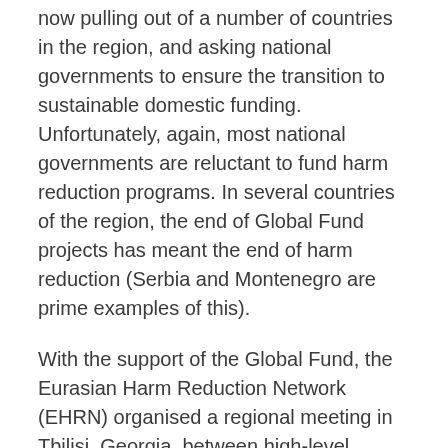now pulling out of a number of countries in the region, and asking national governments to ensure the transition to sustainable domestic funding. Unfortunately, again, most national governments are reluctant to fund harm reduction programs. In several countries of the region, the end of Global Fund projects has meant the end of harm reduction (Serbia and Montenegro are prime examples of this).
With the support of the Global Fund, the Eurasian Harm Reduction Network (EHRN) organised a regional meeting in Tbilisi, Georgia, between high-level political decision-makers and leaders of the most affected communities – that is, drug user activists – to facilitate a dialogue about transition.